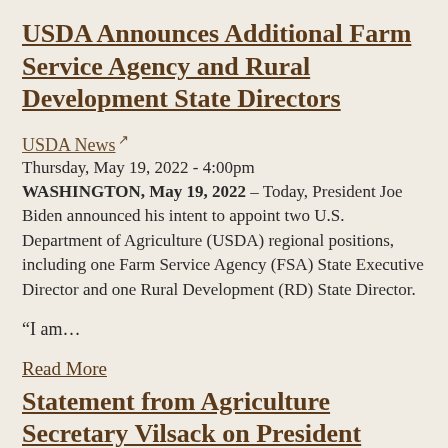USDA Announces Additional Farm Service Agency and Rural Development State Directors
USDA News
Thursday, May 19, 2022 - 4:00pm
WASHINGTON, May 19, 2022 – Today, President Joe Biden announced his intent to appoint two U.S. Department of Agriculture (USDA) regional positions, including one Farm Service Agency (FSA) State Executive Director and one Rural Development (RD) State Director.
“I am…
Read More
Statement from Agriculture Secretary Vilsack on President Biden’s Actions to Address Infant Formula Shortage